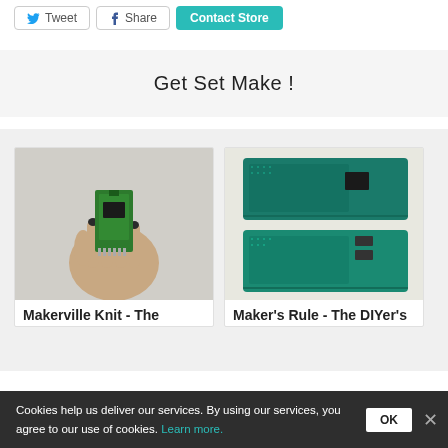[Figure (screenshot): Row of social/action buttons: Tweet (Twitter icon), Share (Facebook icon), Contact Store (teal button)]
Get Set Make !
[Figure (photo): A hand holding a small green Arduino/ESP8266 Wi-Fi module PCB with pins]
Makerville Knit - The
[Figure (photo): Two teal/green PCB boards (Maker's Rule) side by side with coin cell battery holders and grid dot patterns]
Maker's Rule - The DIYer's
Cookies help us deliver our services. By using our services, you agree to our use of cookies. Learn more.
OK